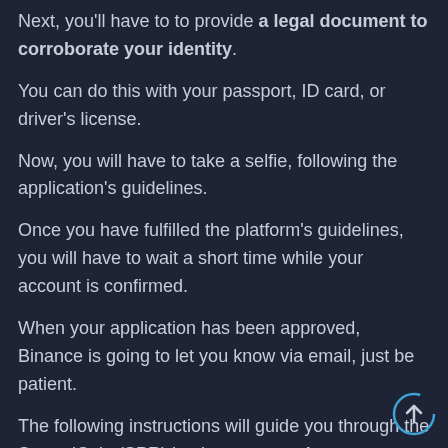Next, you'll have to to provide a legal document to corroborate your identity.
You can do this with your passport, ID card, or driver's license.
Now, you will have to take a selfie, following the application's guidelines.
Once you have fulfilled the platform's guidelines, you will have to wait a short time while your account is confirmed.
When your application has been approved, Binance is going to let you know via email, just be patient.
The following instructions will guide you through the SpreadCoin (SPR) buying process. As soon as you've received the confirmation e-mail, you are a Binance authorized SpreadCoin (SPR) trader.